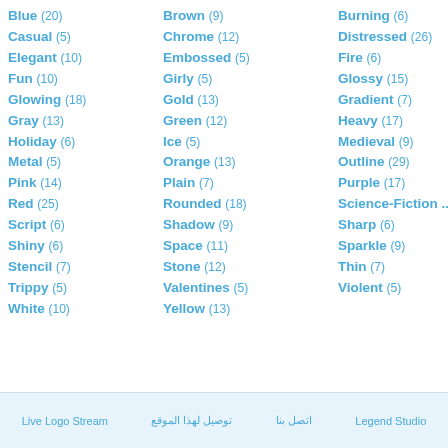Blue (20)
Brown (9)
Burning (6)
Casual (5)
Chrome (12)
Distressed (26)
Elegant (10)
Embossed (5)
Fire (6)
Fun (10)
Girly (5)
Glossy (15)
Glowing (18)
Gold (13)
Gradient (7)
Gray (13)
Green (12)
Heavy (17)
Holiday (6)
Ice (5)
Medieval (9)
Metal (5)
Orange (13)
Outline (29)
Pink (14)
Plain (7)
Purple (17)
Red (25)
Rounded (18)
Science-Fiction ...
Script (6)
Shadow (9)
Sharp (6)
Shiny (6)
Space (11)
Sparkle (9)
Stencil (7)
Stone (12)
Thin (7)
Trippy (5)
Valentines (5)
Violent (5)
White (10)
Yellow (13)
Live Logo Stream   توصيل لهذا الموقع   اتصل بنا   Legend Studio